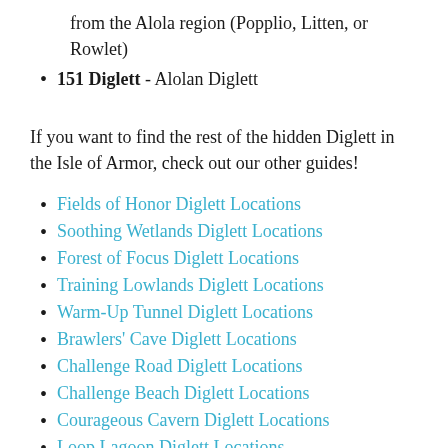from the Alola region (Popplio, Litten, or Rowlet)
151 Diglett - Alolan Diglett
If you want to find the rest of the hidden Diglett in the Isle of Armor, check out our other guides!
Fields of Honor Diglett Locations
Soothing Wetlands Diglett Locations
Forest of Focus Diglett Locations
Training Lowlands Diglett Locations
Warm-Up Tunnel Diglett Locations
Brawlers' Cave Diglett Locations
Challenge Road Diglett Locations
Challenge Beach Diglett Locations
Courageous Cavern Diglett Locations
Loop Lagoon Diglett Locations
Stepping-Stone Sea Diglett Locations
Honeycalm Island Diglett Locations
Insular Sea Diglett Locations